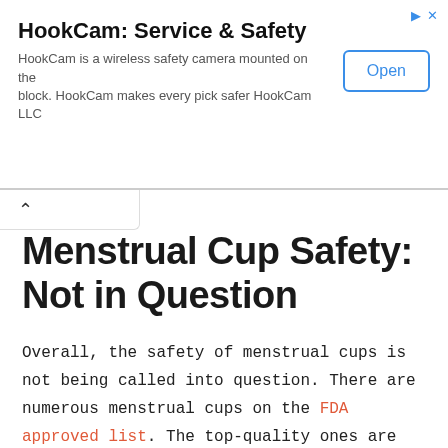[Figure (other): Advertisement banner for HookCam: Service & Safety. Shows title, description text, and an Open button. HookCam is a wireless safety camera mounted on the block. HookCam makes every pick safer HookCam LLC.]
Menstrual Cup Safety: Not in Question
Overall, the safety of menstrual cups is not being called into question. There are numerous menstrual cups on the FDA approved list. The top-quality ones are made from medical grade silicone in North America or Europe.
Manufacturing standards are of the highest grade.